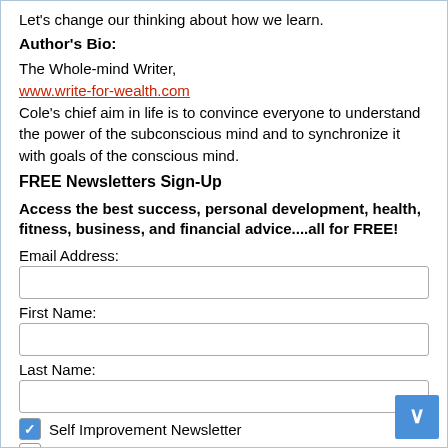Let's change our thinking about how we learn.
Author's Bio:
The Whole-mind Writer,
www.write-for-wealth.com
Cole's chief aim in life is to convince everyone to understand the power of the subconscious mind and to synchronize it with goals of the conscious mind.
FREE Newsletters Sign-Up
Access the best success, personal development, health, fitness, business, and financial advice....all for FREE!
Email Address:
First Name:
Last Name:
Self Improvement Newsletter
Business Tips for Experts, Authors, Coaches